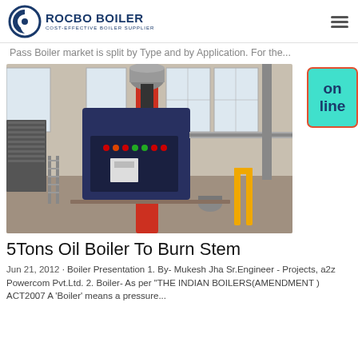ROCBO BOILER COST-EFFECTIVE BOILER SUPPLIER
Pass Boiler market is split by Type and by Application. For the...
[Figure (photo): Industrial boiler unit in a factory setting — a vertical red-and-blue boiler with a control panel, surrounded by industrial equipment and large windows.]
5Tons Oil Boiler To Burn Stem
Jun 21, 2012 · Boiler Presentation 1. By- Mukesh Jha Sr.Engineer - Projects, a2z Powercom Pvt.Ltd. 2. Boiler- As per "THE INDIAN BOILERS(AMENDMENT ) ACT2007 A 'Boiler' means a pressure...